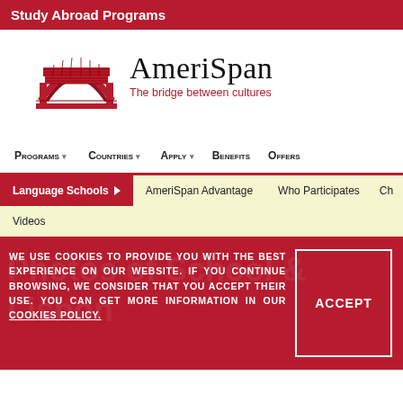Study Abroad Programs
[Figure (logo): AmeriSpan logo — red brick bridge arch illustration with the text 'AmeriSpan' in large serif font and tagline 'The bridge between cultures' in red below]
Programs ▾ Countries ▾ Apply ▾ Benefits Offers
Language Schools ▶ AmeriSpan Advantage Who Participates Ch… Videos
WE USE COOKIES TO PROVIDE YOU WITH THE BEST EXPERIENCE ON OUR WEBSITE. IF YOU CONTINUE BROWSING, WE CONSIDER THAT YOU ACCEPT THEIR USE. YOU CAN GET MORE INFORMATION IN OUR COOKIES POLICY.
ACCEPT